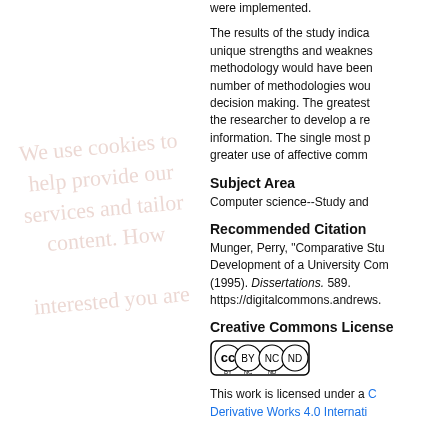were implemented.
The results of the study indica unique strengths and weaknes methodology would have been number of methodologies wou decision making. The greatest the researcher to develop a re information. The single most p greater use of affective comm
Subject Area
Computer science--Study and
Recommended Citation
Munger, Perry, "Comparative Stu Development of a University Com (1995). Dissertations. 589. https://digitalcommons.andrews.
Creative Commons License
[Figure (logo): Creative Commons BY NC ND license badge]
This work is licensed under a Creative Commons Attribution-NonCommercial-No Derivative Works 4.0 Internati